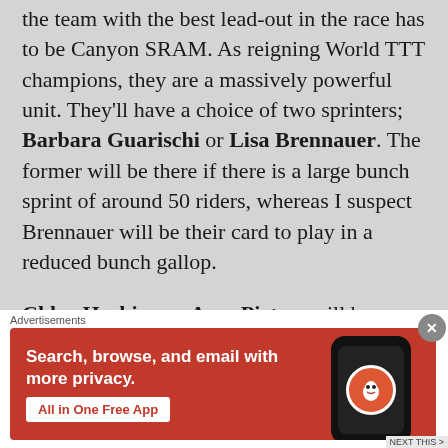the team with the best lead-out in the race has to be Canyon SRAM. As reigning World TTT champions, they are a massively powerful unit. They'll have a choice of two sprinters; Barbara Guarischi or Lisa Brennauer. The former will be there if there is a large bunch sprint of around 50 riders, whereas I suspect Brennauer will be their card to play in a reduced bunch gallop.
Chloe Hosking or Amy Pieters will be Wiggle High5s sprinters of choice, with Hosking probably getting the number 1 card. She took a great win at the Giro Rosa earlier in the year, and will get the chance to lead
Advertisements
[Figure (other): DuckDuckGo advertisement banner. Orange/red background with white text: 'Search, browse, and email with more privacy.' Button: 'All in One Free App'. Right side shows a smartphone with DuckDuckGo logo.]